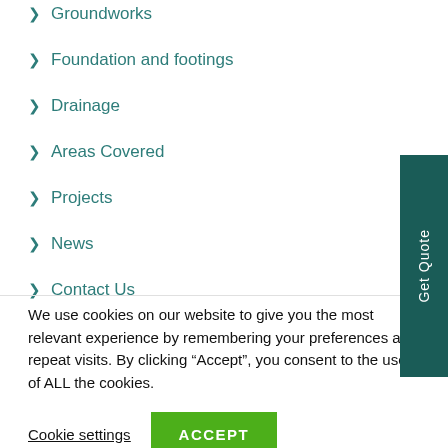> Groundworks
> Foundation and footings
> Drainage
> Areas Covered
> Projects
> News
> Contact Us
We use cookies on our website to give you the most relevant experience by remembering your preferences and repeat visits. By clicking “Accept”, you consent to the use of ALL the cookies.
Cookie settings
ACCEPT